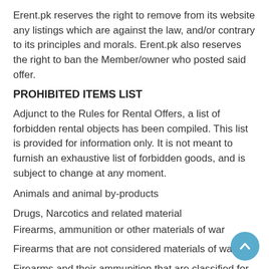Erent.pk reserves the right to remove from its website any listings which are against the law, and/or contrary to its principles and morals. Erent.pk also reserves the right to ban the Member/owner who posted said offer.
PROHIBITED ITEMS LIST
Adjunct to the Rules for Rental Offers, a list of forbidden rental objects has been compiled. This list is provided for information only. It is not meant to furnish an exhaustive list of forbidden goods, and is subject to change at any moment.
Animals and animal by-products
Drugs, Narcotics and related material
Firearms, ammunition or other materials of war
Firearms that are not considered materials of war
Firearms and their ammunition that are classified for self-defense,
hunting rifles and their ammunition, grenades, exhibition or antique firearms and their ammunition
Gambling or lottery devices
Devices for games of chance